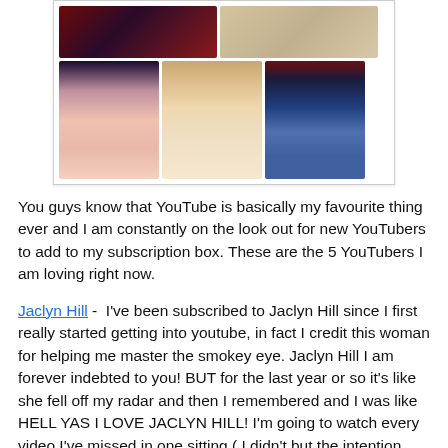[Figure (photo): A collage of five portrait photos arranged in two rows: top row has two photos (woman with dark red hair, and a blonde woman), bottom row has three photos (dark-haired woman with blue eyes, blonde woman with neutral expression, man in suit with glasses).]
You guys know that YouTube is basically my favourite thing ever and I am constantly on the look out for new YouTubers to add to my subscription box. These are the 5 YouTubers I am loving right now.
Jaclyn Hill -  I've been subscribed to Jaclyn Hill since I first really started getting into youtube, in fact I credit this woman for helping me master the smokey eye. Jaclyn Hill I am forever indebted to you! BUT for the last year or so it's like she fell off my radar and then I remembered and I was like HELL YAS I LOVE JACLYN HILL! I'm going to watch every video I've missed in one sitting ( I didn't but the intention was there). She has a great Signature look, forever rocking the smokey